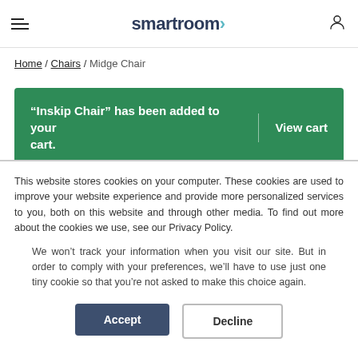smartroom
Home / Chairs / Midge Chair
“Inskip Chair” has been added to your cart. View cart
This website stores cookies on your computer. These cookies are used to improve your website experience and provide more personalized services to you, both on this website and through other media. To find out more about the cookies we use, see our Privacy Policy.
We won’t track your information when you visit our site. But in order to comply with your preferences, we’ll have to use just one tiny cookie so that you’re not asked to make this choice again.
Accept   Decline